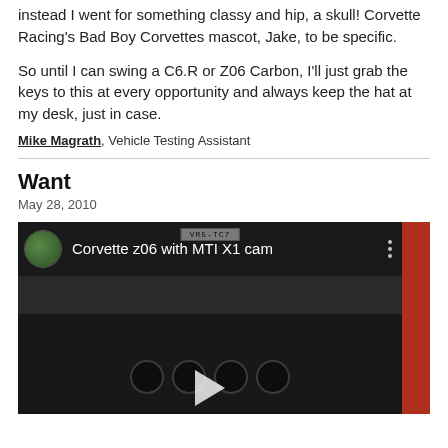instead I went for something classy and hip, a skull! Corvette Racing's Bad Boy Corvettes mascot, Jake, to be specific.
So until I can swing a C6.R or Z06 Carbon, I'll just grab the keys to this at every opportunity and always keep the hat at my desk, just in case.
Mike Magrath, Vehicle Testing Assistant
Want
May 28, 2010
[Figure (screenshot): YouTube video thumbnail showing a Corvette Z06 rear exhaust pipes with license plate, titled 'Corvette z06 with MTI X1 cam']